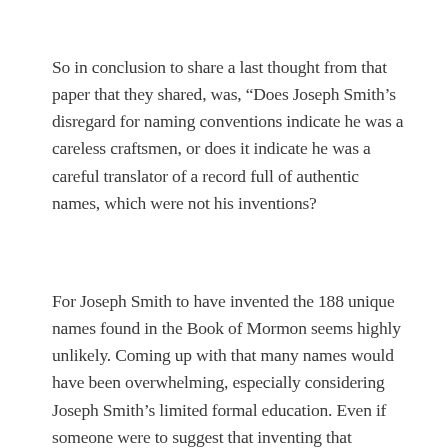So in conclusion to share a last thought from that paper that they shared, was, “Does Joseph Smith’s disregard for naming conventions indicate he was a careless craftsmen, or does it indicate he was a careful translator of a record full of authentic names, which were not his inventions?
For Joseph Smith to have invented the 188 unique names found in the Book of Mormon seems highly unlikely. Coming up with that many names would have been overwhelming, especially considering Joseph Smith’s limited formal education. Even if someone were to suggest that inventing that number of names in a severely limited timeframe might have been possible, their consistency with language patterns yet to be